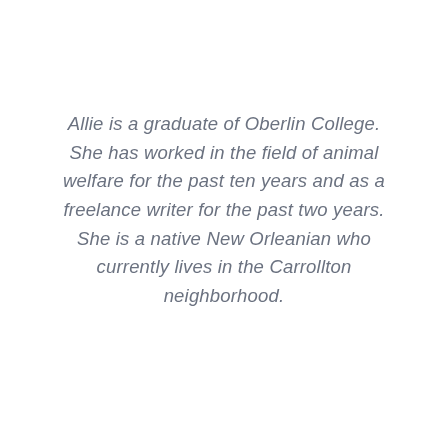Allie is a graduate of Oberlin College. She has worked in the field of animal welfare for the past ten years and as a freelance writer for the past two years. She is a native New Orleanian who currently lives in the Carrollton neighborhood.